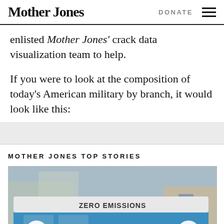Mother Jones | DONATE
enlisted Mother Jones’ crack data visualization team to help.
If you were to look at the composition of today’s American military by branch, it would look like this:
MOTHER JONES TOP STORIES
[Figure (photo): A blue zero-emissions bus labeled SARTA with H2O branding on the side, parked outdoors with bare trees in background.]